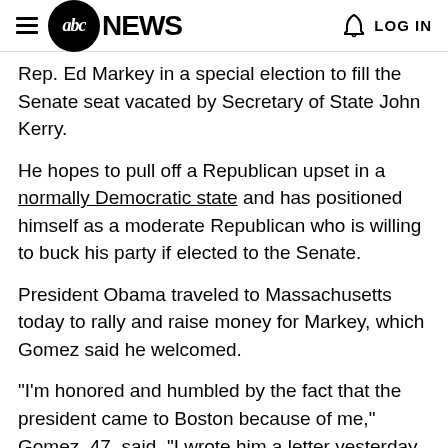abc NEWS  LOG IN
Rep. Ed Markey in a special election to fill the Senate seat vacated by Secretary of State John Kerry.
He hopes to pull off a Republican upset in a normally Democratic state and has positioned himself as a moderate Republican who is willing to buck his party if elected to the Senate.
President Obama traveled to Massachusetts today to rally and raise money for Markey, which Gomez said he welcomed.
"I'm honored and humbled by the fact that the president came to Boston because of me," Gomez, 47, said. "I wrote him a letter yesterday saying that I look forward to meeting with him.
"I'm sure that we can find common ground ... reasonable, common sense solutions to the problems that we face,"